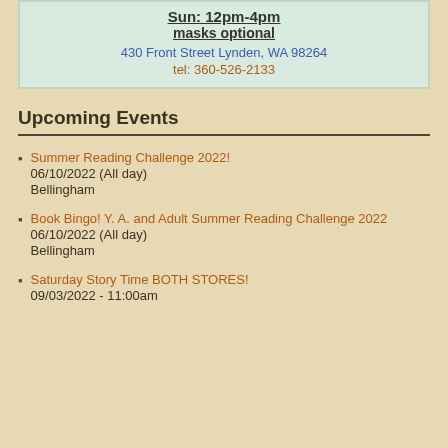Sun: 12pm-4pm
masks optional
430 Front Street Lynden, WA 98264
tel: 360-526-2133
Upcoming Events
Summer Reading Challenge 2022!
06/10/2022 (All day)
Bellingham
Book Bingo! Y. A. and Adult Summer Reading Challenge 2022
06/10/2022 (All day)
Bellingham
Saturday Story Time BOTH STORES!
09/03/2022 - 11:00am